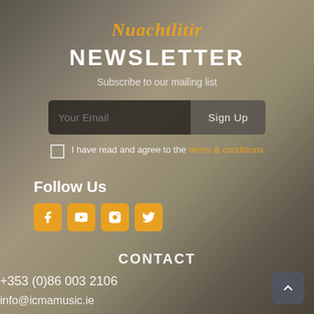Nuachtlitir
NEWSLETTER
Subscribe to our mailing list
Your Email | Sign Up
I have read and agree to the terms & conditions
Follow Us
[Figure (infographic): Social media icons for Facebook, YouTube, Instagram, Twitter in orange rounded squares]
CONTACT
+353 (0)86 003 2106
info@icmamusic.ie